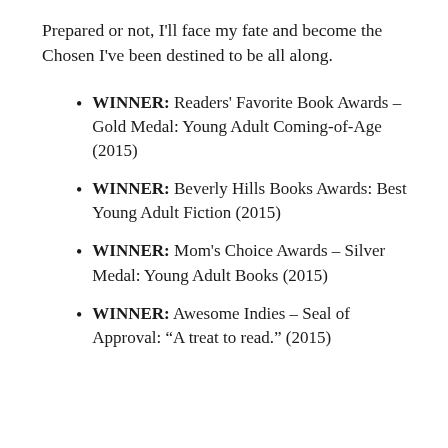Prepared or not, I'll face my fate and become the Chosen I've been destined to be all along.
WINNER: Readers' Favorite Book Awards – Gold Medal: Young Adult Coming-of-Age (2015)
WINNER: Beverly Hills Books Awards: Best Young Adult Fiction (2015)
WINNER: Mom's Choice Awards – Silver Medal: Young Adult Books (2015)
WINNER: Awesome Indies – Seal of Approval: “A treat to read.” (2015)